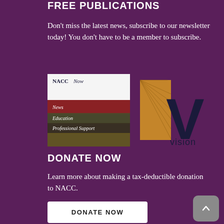FREE PUBLICATIONS
Don't miss the latest news, subscribe to our newsletter today! You don't have to be a member to subscribe.
[Figure (logo): NACC Now newsletter logo with text: News, Education, Professional Support on red and dark brushstroke background]
[Figure (logo): Vision magazine logo with gold and dark geometric V shape]
DONATE NOW
Learn more about making a tax-deductible donation to NACC.
DONATE NOW